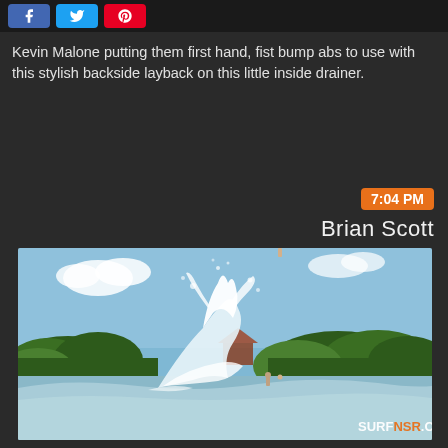[Figure (other): Social media share buttons: Facebook (blue), Twitter (cyan), Pinterest (red)]
Kevin Malone putting them first hand, fist bump abs to use with this stylish backside layback on this little inside drainer.
7:04 PM
Brian Scott
[Figure (photo): Surfing action photo showing a large wave crashing and spraying water high, with green tree-covered coastline in the background under a blue sky with clouds. SURFNSR.COM watermark in bottom right.]